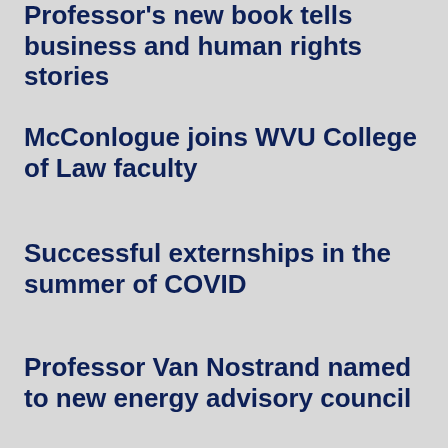Professor's new book tells business and human rights stories
McConlogue joins WVU College of Law faculty
Successful externships in the summer of COVID
Professor Van Nostrand named to new energy advisory council
Unger joins the West Virginia Innocence Project
Robinson to deliver Ihlenfeld Lecture on Constitution Day